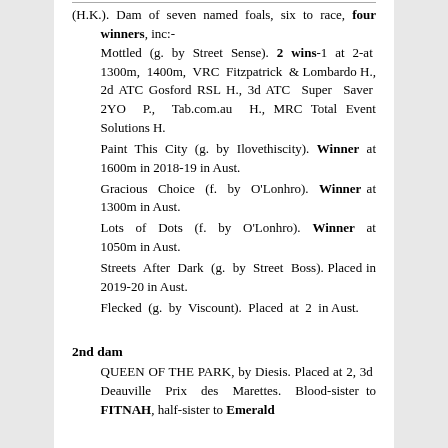(H.K.). Dam of seven named foals, six to race, four winners, inc:-
Mottled (g. by Street Sense). 2 wins-1 at 2-at 1300m, 1400m, VRC Fitzpatrick & Lombardo H., 2d ATC Gosford RSL H., 3d ATC Super Saver 2YO P., Tab.com.au H., MRC Total Event Solutions H.
Paint This City (g. by Ilovethiscity). Winner at 1600m in 2018-19 in Aust.
Gracious Choice (f. by O'Lonhro). Winner at 1300m in Aust.
Lots of Dots (f. by O'Lonhro). Winner at 1050m in Aust.
Streets After Dark (g. by Street Boss). Placed in 2019-20 in Aust.
Flecked (g. by Viscount). Placed at 2 in Aust.
2nd dam
QUEEN OF THE PARK, by Diesis. Placed at 2, 3d Deauville Prix des Marettes. Blood-sister to FITNAH, half-sister to Emerald